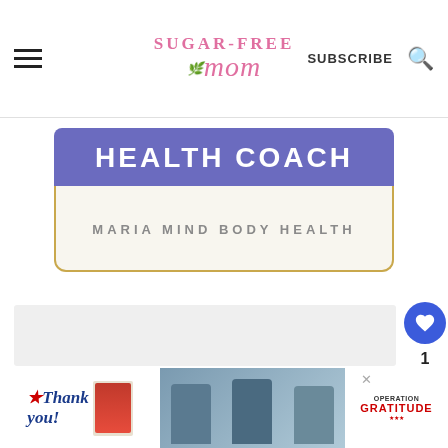[Figure (screenshot): Sugar-Free Mom website header with hamburger menu, logo, SUBSCRIBE button, and search icon]
[Figure (illustration): Health Coach card with purple banner reading HEALTH COACH and subtitle MARIA MIND BODY HEALTH in a gold-bordered card]
1
[Figure (screenshot): Advertisement banner at bottom: Thank you with Operation Gratitude branding and photo of healthcare workers]
w°